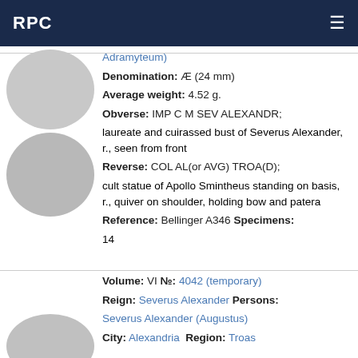RPC
Adramyteum)
Denomination: Æ (24 mm)
Average weight: 4.52 g.
Obverse: IMP C M SEV ALEXANDR; laureate and cuirassed bust of Severus Alexander, r., seen from front
Reverse: COL AL(or AVG) TROA(D); cult statue of Apollo Smintheus standing on basis, r., quiver on shoulder, holding bow and patera
Reference: Bellinger A346 Specimens: 14
Volume: VI №: 4042 (temporary)
Reign: Severus Alexander Persons: Severus Alexander (Augustus)
City: Alexandria  Region: Troas